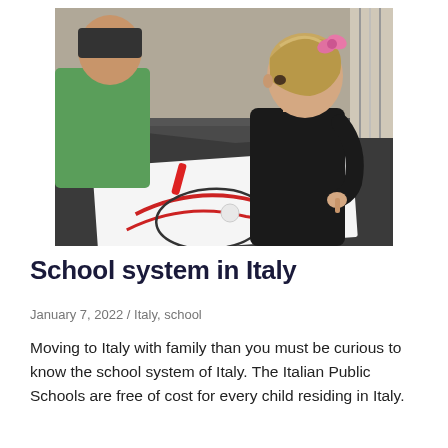[Figure (photo): A young blonde girl with a pink hair bow, wearing a black shirt, drawing on paper at a table covered in dark plastic sheeting. A child in a green shirt is visible to the left. Red and black markers are on the table.]
School system in Italy
January 7, 2022 / Italy, school
Moving to Italy with family than you must be curious to know the school system of Italy. The Italian Public Schools are free of cost for every child residing in Italy.